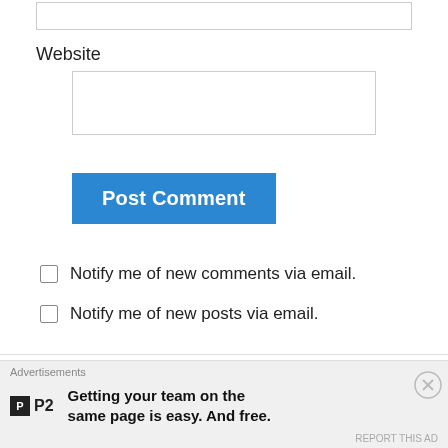Website
Post Comment
Notify me of new comments via email.
Notify me of new posts via email.
hybridZone on July 23, 2014 at 5:32 am
Awwwyeah Black Carnival is back, loving the
Advertisements
Getting your team on the same page is easy. And free.